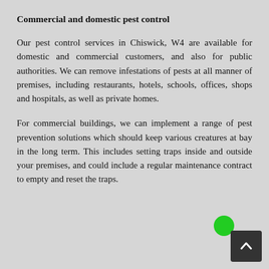Commercial and domestic pest control
Our pest control services in Chiswick, W4 are available for domestic and commercial customers, and also for public authorities. We can remove infestations of pests at all manner of premises, including restaurants, hotels, schools, offices, shops and hospitals, as well as private homes.
For commercial buildings, we can implement a range of pest prevention solutions which should keep various creatures at bay in the long term. This includes setting traps inside and outside your premises, and could include a regular maintenance contract to empty and reset the traps.